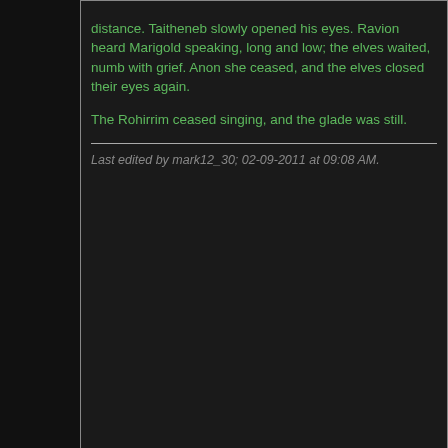distance. Taitheneb slowly opened his eyes. Ravion heard Marigold speaking, long and low; the elves waited, numb with grief. Anon she ceased, and the elves closed their eyes again.

The Rohirrim ceased singing, and the glade was still.
Last edited by mark12_30; 02-09-2011 at 09:08 AM.
10-11-2010, 12:16 PM
#232
mark12_30
Stormdancer of Doom
[Figure (photo): Avatar image of a figure in blue against green foliage]
Join Date: Jan 2002
Location: Elvish singing is not a thing to miss, in June under the stars
Posts: 4,402
Between the reeds, shadows flickered as muddy eddies swirled. A fog had settled in over the marsh, and the porch was slippery. The old man leaned on the railing.

"Come to dinner," called a thin voice from within.

He did not want the oily marsh trout again, so he stood clutching the rail. She